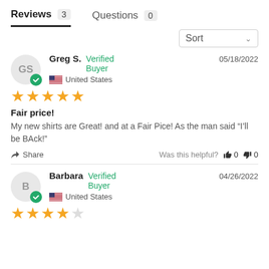Reviews 3   Questions 0
Sort
GS  Verified Buyer  United States  05/18/2022
★★★★★
Fair price!
My new shirts are Great! and at a Fair Pice! As the man said “I'll be BAck!”
Share  Was this helpful?  👍 0  👎 0
Barbara  Verified Buyer  United States  04/26/2022
★★★★☆